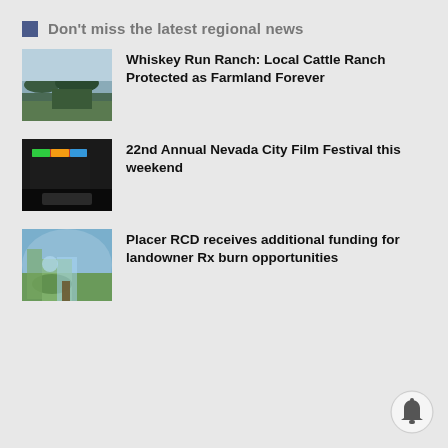Don't miss the latest regional news
[Figure (photo): Aerial landscape photo of a cattle ranch with fields and trees]
Whiskey Run Ranch: Local Cattle Ranch Protected as Farmland Forever
[Figure (photo): Dark indoor film festival screening room with colorful banner visible]
22nd Annual Nevada City Film Festival this weekend
[Figure (photo): Person conducting a prescribed burn with blue smoke and vegetation]
Placer RCD receives additional funding for landowner Rx burn opportunities